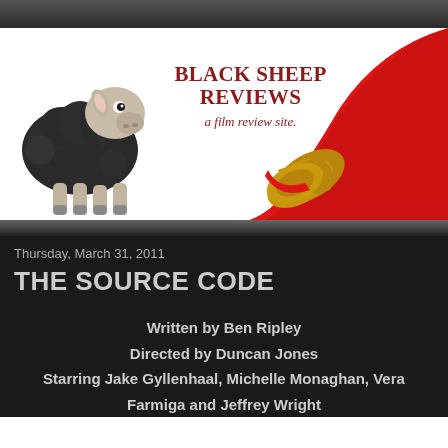[Figure (logo): Black Sheep Reviews logo banner with a black sheep illustration on the left, a rolled-out red carpet on the right, and the text 'BLACK SHEEP REVIEWS - a film review site.' in dark red serif font in the center.]
Thursday, March 31, 2011
THE SOURCE CODE
Written by Ben Ripley
Directed by Duncan Jones
Starring Jake Gyllenhaal, Michelle Monaghan, Vera Farmiga and Jeffrey Wright